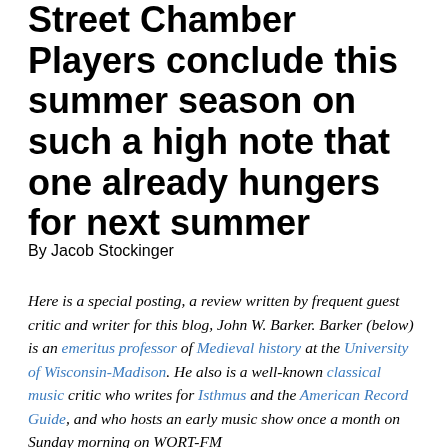Street Chamber Players conclude this summer season on such a high note that one already hungers for next summer
By Jacob Stockinger
Here is a special posting, a review written by frequent guest critic and writer for this blog, John W. Barker. Barker (below) is an emeritus professor of Medieval history at the University of Wisconsin-Madison. He also is a well-known classical music critic who writes for Isthmus and the American Record Guide, and who hosts an early music show once a month on Sunday morning on WORT-FM